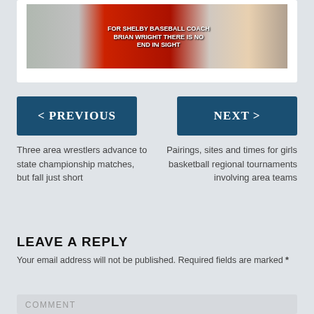[Figure (photo): Collage of newspaper/magazine covers related to Shelby baseball coach Brian Wright with text overlay: FOR SHELBY BASEBALL COACH BRIAN WRIGHT THERE IS NO END IN SIGHT]
< PREVIOUS
NEXT >
Three area wrestlers advance to state championship matches, but fall just short
Pairings, sites and times for girls basketball regional tournaments involving area teams
LEAVE A REPLY
Your email address will not be published. Required fields are marked *
COMMENT